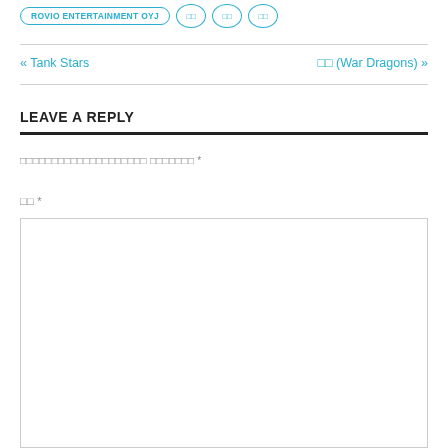ROVIO ENTERTAINMENT OYJ  □□  □□  □□
« Tank Stars    □□ (War Dragons) »
LEAVE A REPLY
□□□□□□□□□□□□□□□□□□□□ □□□□□□□ *
□□ *
[comment textarea]